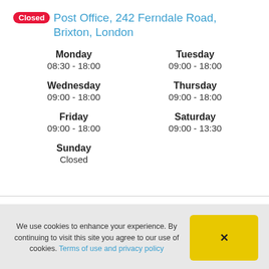Closed Post Office, 242 Ferndale Road, Brixton, London
| Day | Hours |
| --- | --- |
| Monday | 08:30 - 18:00 |
| Tuesday | 09:00 - 18:00 |
| Wednesday | 09:00 - 18:00 |
| Thursday | 09:00 - 18:00 |
| Friday | 09:00 - 18:00 |
| Saturday | 09:00 - 13:30 |
| Sunday | Closed |
We use cookies to enhance your experience. By continuing to visit this site you agree to our use of cookies. Terms of use and privacy policy